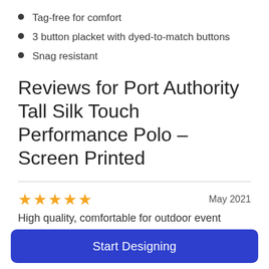Tag-free for comfort
3 button placket with dyed-to-match buttons
Snag resistant
Reviews for Port Authority Tall Silk Touch Performance Polo – Screen Printed
★★★★★  May 2021
High quality, comfortable for outdoor event
anna t
Start Designing